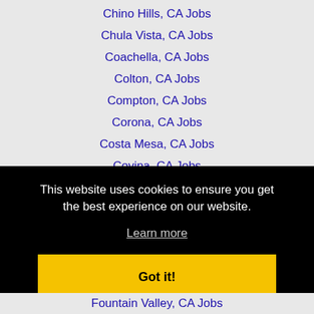Chino Hills, CA Jobs
Chula Vista, CA Jobs
Coachella, CA Jobs
Colton, CA Jobs
Compton, CA Jobs
Corona, CA Jobs
Costa Mesa, CA Jobs
Covina, CA Jobs
Cypress, CA Jobs
Diamond Bar, CA Jobs
This website uses cookies to ensure you get the best experience on our website.
Learn more
Got it!
Fountain Valley, CA Jobs